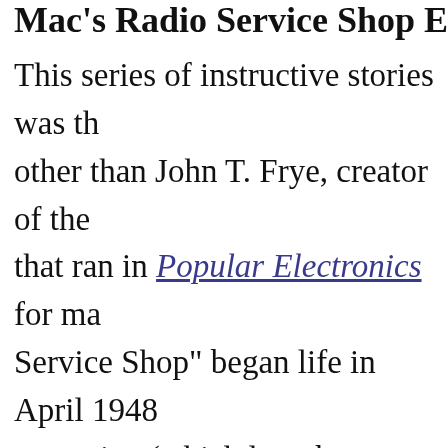Mac's Radio Service Shop Episodes
This series of instructive stories was the work of none other than John T. Frye, creator of the column that ran in Popular Electronics for many years. "Mac's Radio Service Shop" began life in April 1948 in Service magazine (which later became Radio & Electronics World), and changed its name to "Mac's Service Shop" until the final episode was published in Popular Electronics magazine. "Mac"